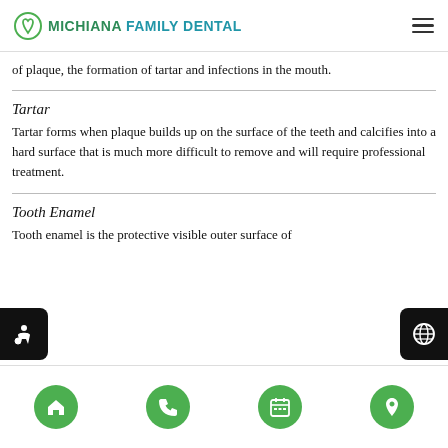MICHIANA FAMILY DENTAL
of plaque, the formation of tartar and infections in the mouth.
Tartar
Tartar forms when plaque builds up on the surface of the teeth and calcifies into a hard surface that is much more difficult to remove and will require professional treatment.
Tooth Enamel
Tooth enamel is the protective visible outer surface of